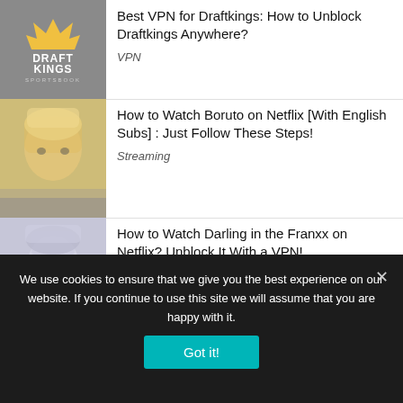[Figure (illustration): DraftKings Sportsbook logo on grey background with crown icon]
Best VPN for Draftkings: How to Unblock Draftkings Anywhere?
VPN
[Figure (illustration): Anime character from Boruto with blonde hair, muted warm tones]
How to Watch Boruto on Netflix [With English Subs] : Just Follow These Steps!
Streaming
[Figure (illustration): Anime character from Darling in the Franxx, muted purple-grey tones]
How to Watch Darling in the Franxx on Netflix? Unblock It With a VPN!
Streaming
See all the blog posts here ›
We use cookies to ensure that we give you the best experience on our website. If you continue to use this site we will assume that you are happy with it.
Got it!